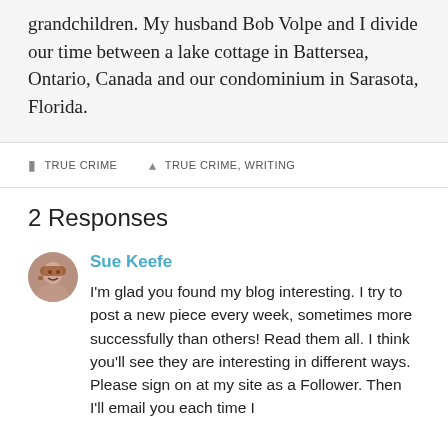grandchildren. My husband Bob Volpe and I divide our time between a lake cottage in Battersea, Ontario, Canada and our condominium in Sarasota, Florida.
TRUE CRIME    TRUE CRIME, WRITING
2 Responses
Sue Keefe
I'm glad you found my blog interesting. I try to post a new piece every week, sometimes more successfully than others! Read them all. I think you'll see they are interesting in different ways. Please sign on at my site as a Follower. Then I'll email you each time I